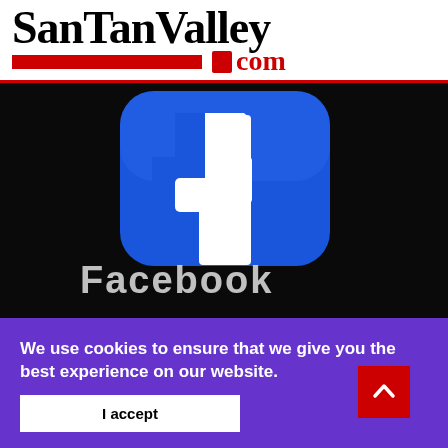[Figure (logo): SanTanValley.com logo with bold serif text and red bar/dot accent]
[Figure (photo): Close-up photograph of the Facebook app icon (blue rounded square with white 'f') on a dark background, with blurred 'Facebook' text below the icon]
Facebook is adding more Snapchat-like features to its app. The company says it wants to let your camera
We use cookies to ensure that we give you the best experience on our website.
I accept